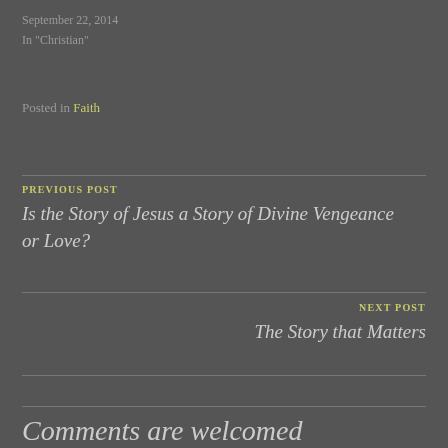September 22, 2014
In "Christian"
Posted in Faith
PREVIOUS POST
Is the Story of Jesus a Story of Divine Vengeance or Love?
NEXT POST
The Story that Matters
Comments are welcomed